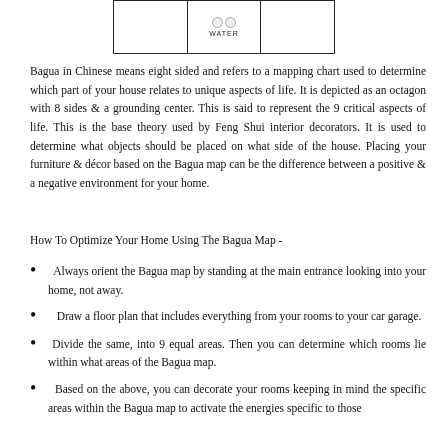[Figure (table-as-image): Partial Bagua map diagram showing cells, one labeled WATER with two circles]
Bagua in Chinese means eight sided and refers to a mapping chart used to determine which part of your house relates to unique aspects of life. It is depicted as an octagon with 8 sides & a grounding center. This is said to represent the 9 critical aspects of life. This is the base theory used by Feng Shui interior decorators. It is used to determine what objects should be placed on what side of the house. Placing your furniture & décor based on the Bagua map can be the difference between a positive & a negative environment for your home.
How To Optimize Your Home Using The Bagua Map -
Always orient the Bagua map by standing at the main entrance looking into your home, not away.
Draw a floor plan that includes everything from your rooms to your car garage.
Divide the same, into 9 equal areas. Then you can determine which rooms lie within what areas of the Bagua map.
Based on the above, you can decorate your rooms keeping in mind the specific areas within the Bagua map to activate the energies specific to those